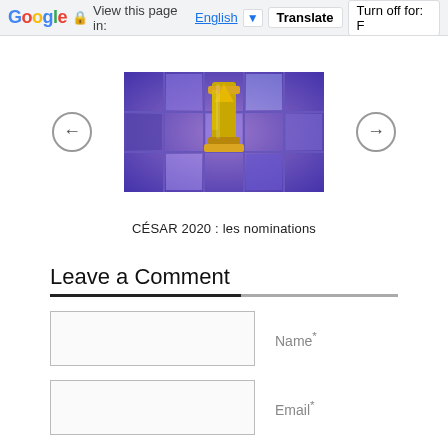Google  View this page in: English [▼]  Translate  Turn off for: F
[Figure (photo): César award trophy (gold figurine) against a purple/blue tiled background, shown in a carousel with left and right navigation arrows]
CÉSAR 2020 : les nominations
Leave a Comment
Name*
Email*
Website